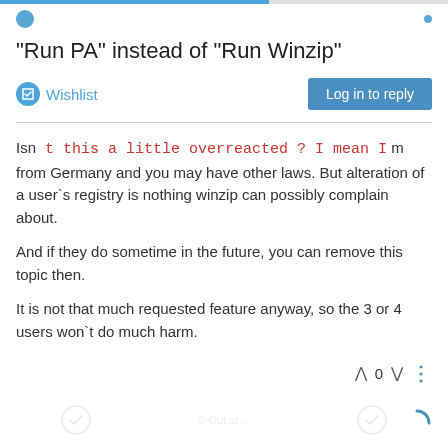"Run PA" instead of "Run Winzip"
"Run PA" instead of "Run Winzip"
Wishlist
Isn t this a little overreacted ? I mean I m from Germany and you may have other laws. But alteration of a user`s registry is nothing winzip can possibly complain about.
And if they do sometime in the future, you can remove this topic then.
It is not that much requested feature anyway, so the 3 or 4 users won`t do much harm.